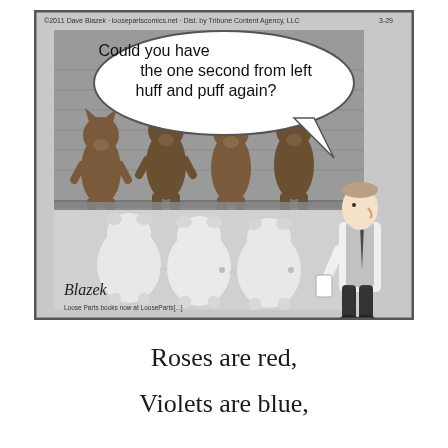[Figure (illustration): A single-panel cartoon (Blazek / Loose Parts) showing a police lineup scene. A man in a suit and tie holds papers and stands to the right. In the foreground, viewed from behind, are three round white pigs. In the lineup behind a glass panel stand four upright wolves/dogs. A speech bubble from off-panel reads: 'Could you have the one second from left huff and puff again?' Copyright text at top: '©2011 Dave Blazek · loosepartscomics.net · Dist. by Tribune Content Agency, LLC  3-29'. Artist signature 'Blazek' at bottom left, and 'Loose Parts books now at LooseParts[...]' at bottom.]
Roses are red,
Violets are blue,